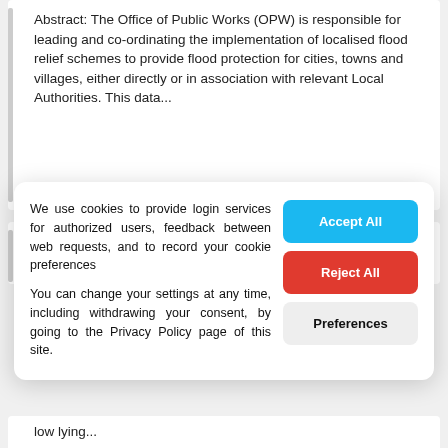Abstract: The Office of Public Works (OPW) is responsible for leading and co-ordinating the implementation of localised flood relief schemes to provide flood protection for cities, towns and villages, either directly or in association with relevant Local Authorities. This data...
Arterial Drainage Scheme
We use cookies to provide login services for authorized users, feedback between web requests, and to record your cookie preferences
You can change your settings at any time, including withdrawing your consent, by going to the Privacy Policy page of this site.
low lying...